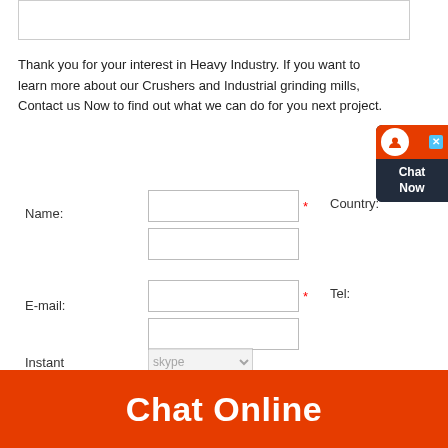Thank you for your interest in Heavy Industry. If you want to learn more about our Crushers and Industrial grinding mills, Contact us Now to find out what we can do for you next project.
Name:
Country:
E-mail:
Tel:
Instant
Chat Online